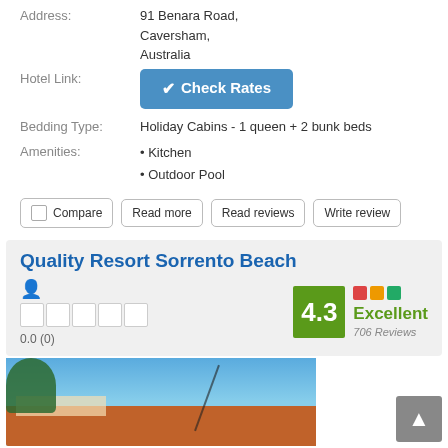Address: 91 Benara Road, Caversham, Australia
Hotel Link: Check Rates
Bedding Type: Holiday Cabins - 1 queen + 2 bunk beds
• Kitchen
• Outdoor Pool
Compare | Read more | Read reviews | Write review
Quality Resort Sorrento Beach
0.0 (0)
4.3 Excellent 706 Reviews
[Figure (photo): Photo of Quality Resort Sorrento Beach building with blue sky]